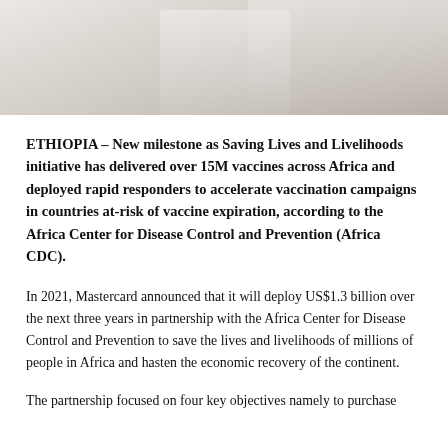[Figure (photo): A photo showing a medical/healthcare setting, likely someone in a white coat or lab coat, light and neutral tones]
ETHIOPIA – New milestone as Saving Lives and Livelihoods initiative has delivered over 15M vaccines across Africa and deployed rapid responders to accelerate vaccination campaigns in countries at-risk of vaccine expiration, according to the Africa Center for Disease Control and Prevention (Africa CDC).
In 2021, Mastercard announced that it will deploy US$1.3 billion over the next three years in partnership with the Africa Center for Disease Control and Prevention to save the lives and livelihoods of millions of people in Africa and hasten the economic recovery of the continent.
The partnership focused on four key objectives namely to purchase